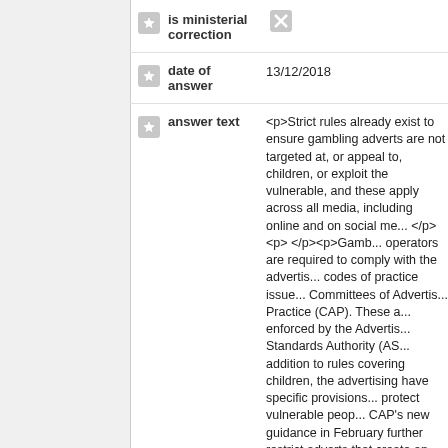is ministerial correction
date of answer: 13/12/2018
answer text: <p>Strict rules already exist to ensure gambling adverts are not targeted at, or appeal to, children, or exploit the vulnerable, and these apply across all media, including online and on social media. </p><p> </p><p>Gambling operators are required to comply with the advertising codes of practice issued by the Committees of Advertising Practice (CAP). These are enforced by the Advertising Standards Authority (ASA). In addition to rules covering children, the advertising codes have specific provisions to protect vulnerable people. CAP's new guidance in February further restricts adverts that create an inappropriate sense of urgency or give an irresponsible perception of risk or control. </p><p> </p><p>Gambling adverts must not feature content that risks appeal to children...